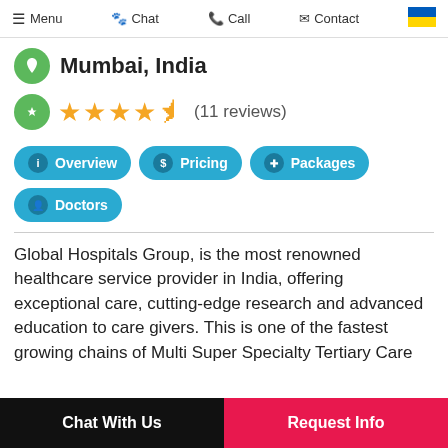Menu  Chat  Call  Contact
Mumbai, India
★★★★½ (11 reviews)
Overview
Pricing
Packages
Doctors
Global Hospitals Group, is the most renowned healthcare service provider in India, offering exceptional care, cutting-edge research and advanced education to care givers. This is one of the fastest growing chains of Multi Super Specialty Tertiary Care
Chat With Us   Request Info